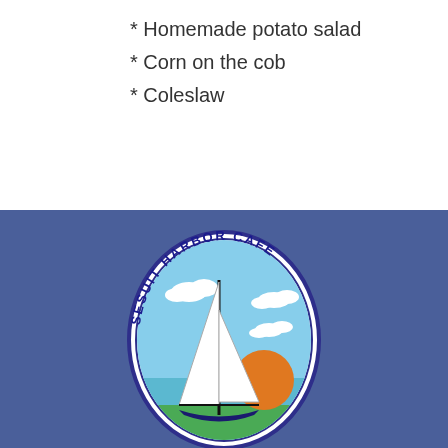* Homemade potato salad
* Corn on the cob
* Coleslaw
[Figure (logo): Sesuit Harbor Cafe logo: oval shape with dark blue border and white background, text 'SESUIT HARBOR CAFE' arcing around the top in dark blue, sailboat with white sails and black mast in center, orange sun setting over light blue water, green shoreline at bottom, placed on a blue-gray background.]